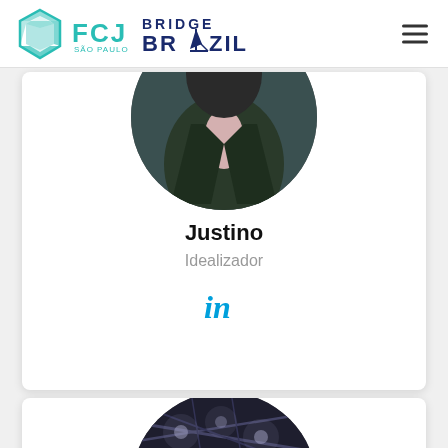FCJ São Paulo | Bridge Brazil
[Figure (photo): Profile photo card for Justino — person in dark suit, circular crop. Name: Justino, Title: Idealizador, LinkedIn icon below.]
Justino
Idealizador
[Figure (photo): Second profile card — circular cropped photo showing an event/conference room interior with overhead lights and a laptop/tablet on a table.]